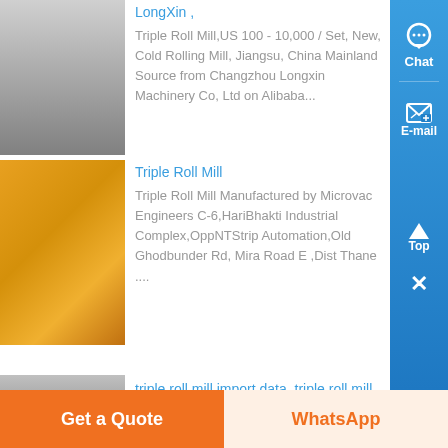[Figure (photo): Photo of a metal drum/barrel industrial equipment]
LongXin ,
Triple Roll Mill,US 100 - 10,000 / Set, New, Cold Rolling Mill, Jiangsu, China Mainland Source from Changzhou Longxin Machinery Co, Ltd on Alibaba...
[Figure (photo): Photo of a yellow heavy industrial triple roll mill machine]
Triple Roll Mill
Triple Roll Mill Manufactured by Microvac Engineers C-6,HariBhakti Industrial Complex,OppNTStrip Automation,Old Ghodbunder Rd, Mira Road E ,Dist Thane ....
[Figure (photo): Photo of a metal gear/sprocket component]
triple roll mill import data, triple roll mill importer ,